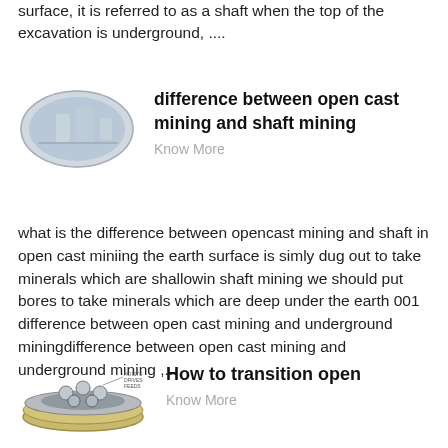surface, it is referred to as a shaft when the top of the excavation is underground, ....
[Figure (photo): Small oval-shaped photo showing an industrial or mining structure]
difference between open cast mining and shaft mining
Know More
what is the difference between opencast mining and shaft in open cast miniing the earth surface is simly dug out to take minerals which are shallowin shaft mining we should put bores to take minerals which are deep under the earth 001 difference between open cast mining and underground miningdifference between open cast mining and underground mining ,...
[Figure (illustration): Illustration of a circular mining or industrial equipment viewed from above]
How to transition open
Know More